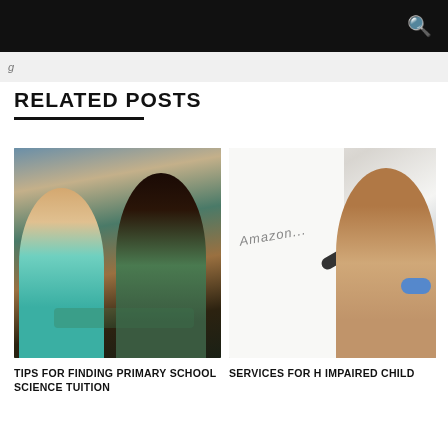RELATED POSTS
[Figure (photo): A female tutor with dark hair and green top helping a young girl with curly hair write at a desk]
TIPS FOR FINDING PRIMARY SCHOOL SCIENCE TUITION
[Figure (photo): A child writing on a whiteboard with a marker, wearing a hearing aid]
SERVICES FOR H IMPAIRED CHILD